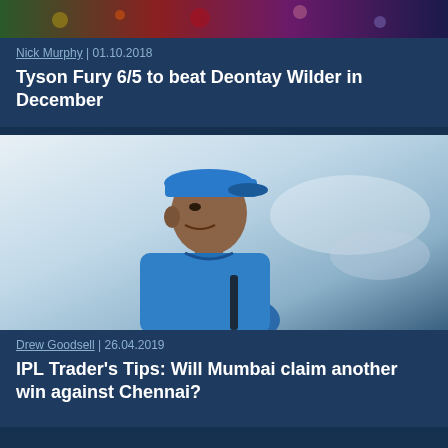[Figure (photo): Partial image strip at top showing a boxing/sports scene with colorful background]
Nick Murphy | 01.10.2018
Tyson Fury 6/5 to beat Deontay Wilder in December
[Figure (photo): Photo of a man in blue cricket cap and blue jersey, side profile, looking to the left, likely MS Dhoni]
Drew Goodsell | 26.04.2019
IPL Trader's Tips: Will Mumbai claim another win against Chennai?
HELP & INFORMATION